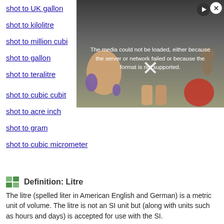shot to UK gallon
shot to kilolitre
shot to million cubic
shot to gallon
shot to teralitre
shot to cubic cubit
shot to acre inch
shot to gram
shot to cubic micrometer
[Figure (screenshot): Video player overlay showing error message: 'The media could not be loaded, either because the server or network failed or because the format is not supported.' with a close button and play button. Background shows an illustration.]
Definition: Litre
The litre (spelled liter in American English and German) is a metric unit of volume. The litre is not an SI unit but (along with units such as hours and days) is accepted for use with the SI.